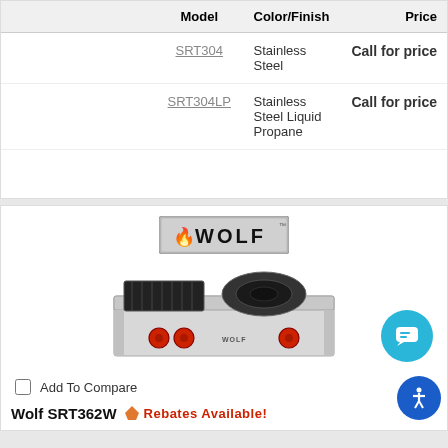|  | Model | Color/Finish | Price |
| --- | --- | --- | --- |
|  | SRT304 | Stainless Steel | Call for price |
|  | SRT304LP | Stainless Steel Liquid Propane | Call for price |
[Figure (logo): Wolf brand logo - silver rectangular background with bold WOLF text and red flame icon]
[Figure (photo): Wolf SRT362W rangetop product photo - stainless steel cooktop with red knobs, charbroiler and French top burner sections]
Add To Compare
Wolf SRT362W Rebates Available!